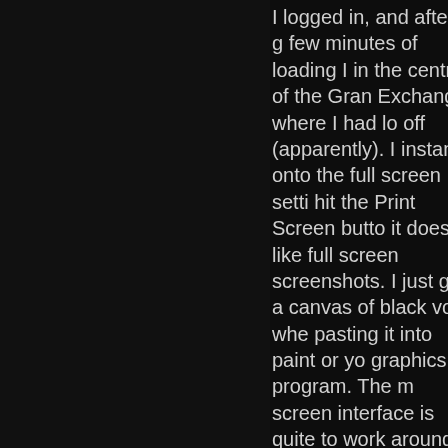[Figure (photo): Dark background image occupying the left portion of the page, showing a very dark, near-black scene.]
I logged in, and after a few minutes of loading I in the centre of the Gran Exchange where I had lo off (apparently). I instant onto the full screen setti hit the Print Screen butto it doesn't like full screen screenshots. I just got a canvas of black void whe pasting it into paint or yo graphics program. The m screen interface is quite to work around at first. It be just me, but I felt that chat box was too insignif when compared to the m